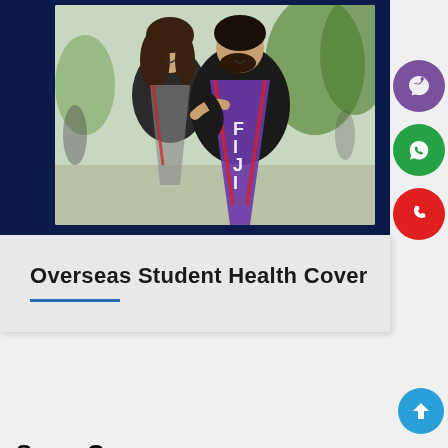[Figure (photo): Two graduates smiling and embracing, one wearing a purple FIJI fraternity stole with red and white tassels, against an outdoor blurred background]
Overseas Student Health Cover
Same Courses
[Figure (illustration): Viber app icon - purple circle with white phone/viber logo]
[Figure (illustration): WhatsApp app icon - green circle with white phone/chat logo]
[Figure (illustration): Phone call icon - red circle with white telephone handset]
[Figure (illustration): Scroll to top button - blue circle with white upward arrow]